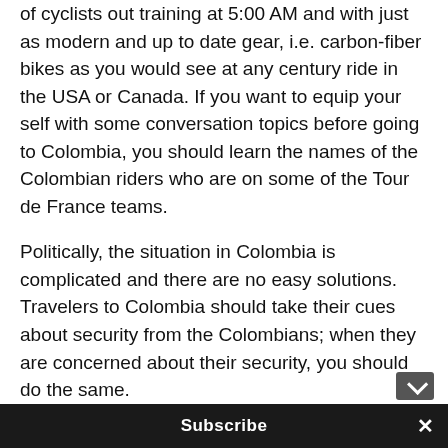of cyclists out training at 5:00 AM and with just as modern and up to date gear, i.e. carbon-fiber bikes as you would see at any century ride in the USA or Canada. If you want to equip your self with some conversation topics before going to Colombia, you should learn the names of the Colombian riders who are on some of the Tour de France teams.
Politically, the situation in Colombia is complicated and there are no easy solutions. Travelers to Colombia should take their cues about security from the Colombians; when they are concerned about their security, you should do the same.
Thanks again for sharing your photos with us
Jay
Subscribe